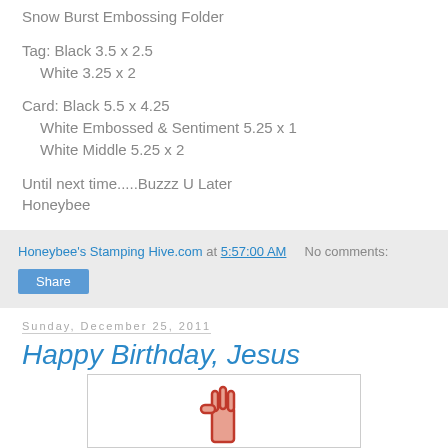Snow Burst Embossing Folder

Tag: Black 3.5 x 2.5
   White 3.25 x 2

Card: Black 5.5 x 4.25
   White Embossed & Sentiment 5.25 x 1
   White Middle 5.25 x 2

Until next time.....Buzzz U Later
Honeybee
Honeybee's Stamping Hive.com at 5:57:00 AM   No comments:
Share
Sunday, December 25, 2011
Happy Birthday, Jesus
[Figure (photo): Partial image of a card with a red hand/candle graphic visible at the bottom of the page]